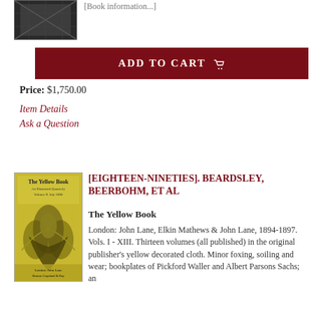[Figure (photo): Small black-and-white image of a book or figure at top left]
[Book title/details truncated at top]
ADD TO CART
Price: $1,750.00
Item Details
Ask a Question
[Figure (photo): Cover of The Yellow Book, An Illustrated Quarterly, Volume X July 1896, London: John Lane, yellow decorated cloth with decorative plant/floral design]
[EIGHTEEN-NINETIES]. BEARDSLEY, BEERBOHM, ET AL
The Yellow Book
London: John Lane, Elkin Mathews & John Lane, 1894-1897. Vols. I - XIII. Thirteen volumes (all published) in the original publisher's yellow decorated cloth. Minor foxing, soiling and wear; bookplates of Pickford Waller and Albert Parsons Sachs; an